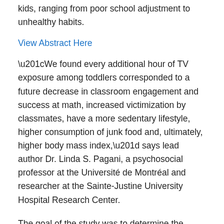kids, ranging from poor school adjustment to unhealthy habits.
View Abstract Here
“We found every additional hour of TV exposure among toddlers corresponded to a future decrease in classroom engagement and success at math, increased victimization by classmates, have a more sedentary lifestyle, higher consumption of junk food and, ultimately, higher body mass index,” says lead author Dr. Linda S. Pagani, a psychosocial professor at the Université de Montréal and researcher at the Sainte-Justine University Hospital Research Center.
The goal of the study was to determine the impact of TV exposure at age 2 on future academic success, lifestyle choices and general well being among children. “Between